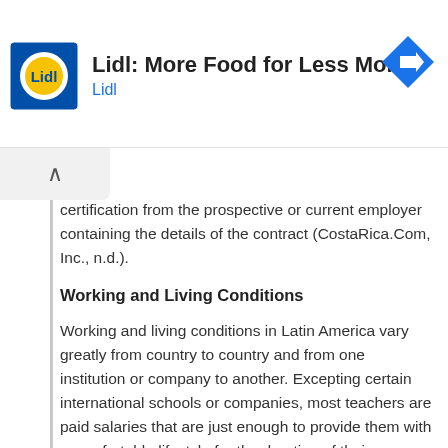[Figure (other): Lidl advertisement banner with Lidl logo, text 'Lidl: More Food for Less Money' and 'Lidl', and a blue navigation arrow icon]
certification from the prospective or current employer containing the details of the contract (CostaRica.Com, Inc., n.d.).
Working and Living Conditions
Working and living conditions in Latin America vary greatly from country to country and from one institution or company to another. Excepting certain international schools or companies, most teachers are paid salaries that are just enough to provide them with a comfortable lifestyle for the duration of their contracts. Added benefits such as free accommodations and air fares are not automatically part of the teacher?s contract (English International, 2009). Teachers planning to work in this region would do well to get as much information about their destination country as possible. They should also